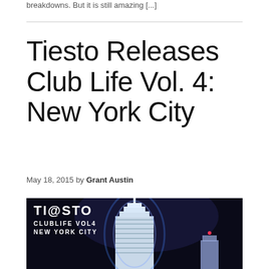breakdowns. But it is still amazing [...]
Tiesto Releases Club Life Vol. 4: New York City
May 18, 2015 by Grant Austin
[Figure (photo): Album cover art for Tiesto Club Life Vol. 4 New York City, showing the Empire State Building glowing in blue/white neon light against a dark background, with the Tiesto logo and album title text in white at the top left.]